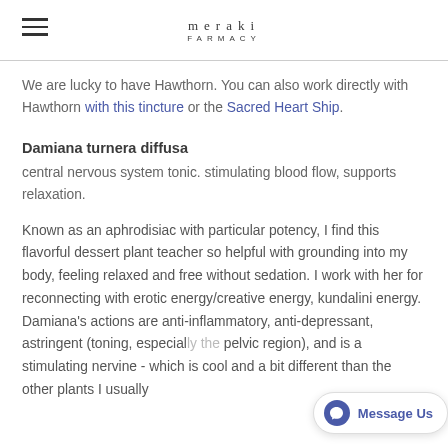meraki FARMACY
We are lucky to have Hawthorn. You can also work directly with Hawthorn with this tincture or the Sacred Heart Ship.
Damiana turnera diffusa
central nervous system tonic. stimulating blood flow, supports relaxation.
Known as an aphrodisiac with particular potency, I find this flavorful dessert plant teacher so helpful with grounding into my body, feeling relaxed and free without sedation. I work with her for reconnecting with erotic energy/creative energy, kundalini energy. Damiana's actions are anti-inflammatory, anti-depressant, astringent (toning, especially the pelvic region), and is a stimulating nervine - which is cool and a bit different than the other plants I usually